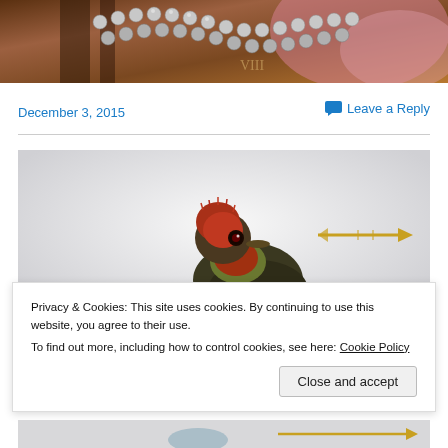[Figure (photo): Close-up photo of jewelry/beads, metallic beads and colorful fabric background]
December 3, 2015
Leave a Reply
[Figure (photo): Photo of a hummingbird with red head and golden arrow/decoration, light gray background]
Privacy & Cookies: This site uses cookies. By continuing to use this website, you agree to their use.
To find out more, including how to control cookies, see here: Cookie Policy
Close and accept